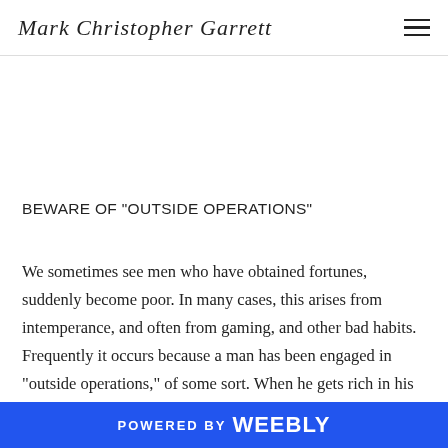Mark Christopher Garrett
BEWARE OF "OUTSIDE OPERATIONS"
We sometimes see men who have obtained fortunes, suddenly become poor. In many cases, this arises from intemperance, and often from gaming, and other bad habits. Frequently it occurs because a man has been engaged in "outside operations," of some sort. When he gets rich in his legitimate business, he is told of a grand speculation where he can make a score of thousands. He
POWERED BY weebly